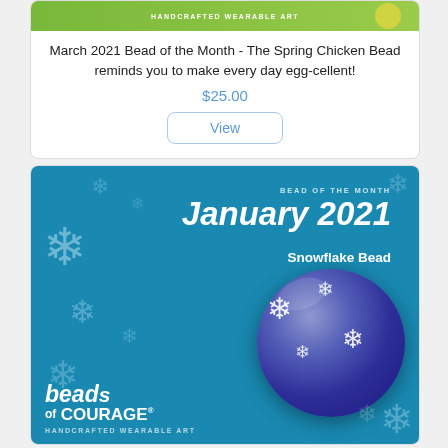[Figure (illustration): Partial green banner image at top of card showing 'HANDCRAFTED WEARABLE ART' text]
March 2021 Bead of the Month - The Spring Chicken Bead reminds you to make every day egg-cellent!
$25.00
View
[Figure (illustration): Beads of Courage January 2021 Snowflake Bead promotional image on teal/blue background with snowflake decorations and a dark blue glass bead with white snowflake patterns]